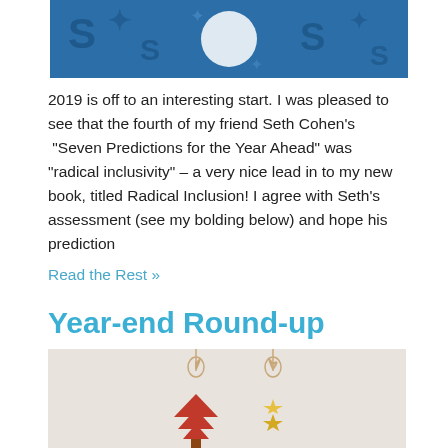[Figure (photo): Blue patterned background with white circular shape in the center, appears to be a decorative or banner image]
2019 is off to an interesting start. I was pleased to see that the fourth of my friend Seth Cohen's  “Seven Predictions for the Year Ahead” was “radical inclusivity” – a very nice lead in to my new book, titled Radical Inclusion! I agree with Seth’s assessment (see my bolding below) and hope his prediction
Read the Rest »
Year-end Round-up
[Figure (photo): Holiday ornaments on a light background: a red tree-shaped ornament and a gold star-shaped ornament, both hanging from strings]